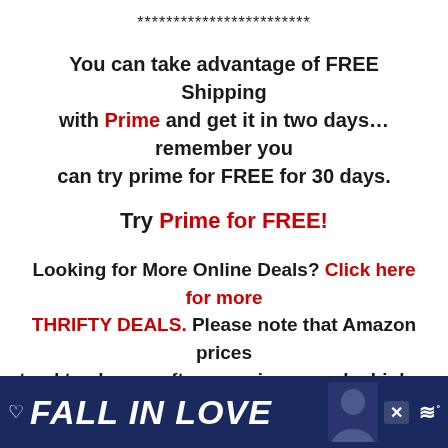************************
You can take advantage of FREE Shipping with Prime and get it in two days… remember you can try prime for FREE for 30 days.
Try Prime for FREE!
Looking for More Online Deals?  Click here for more THRIFTY DEALS. Please note that Amazon prices tend to change often so prices may be higher or lower without notice.
ADVERTISEMENT
[Figure (photo): Advertisement banner with dark blue background showing 'FALL IN LOVE' text in white italic font with a person's silhouette and a music app logo]